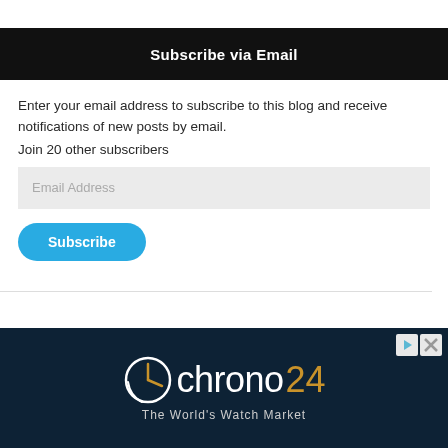Subscribe via Email
Enter your email address to subscribe to this blog and receive notifications of new posts by email.
Join 20 other subscribers
[Figure (screenshot): Email address input field with placeholder text 'Email Address' on a light grey background]
[Figure (screenshot): Blue rounded Subscribe button]
[Figure (logo): Chrono24 - The World's Watch Market advertisement banner on dark navy background with clock icon logo]